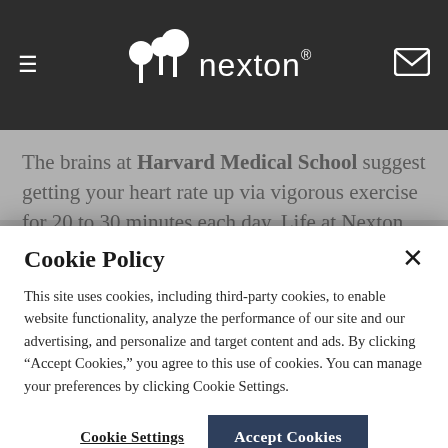nexton
The brains at Harvard Medical School suggest getting your heart rate up via vigorous exercise for 20 to 30 minutes each day. Life at Nexton makes that easy – you're always minutes from a winding trail, neighborhood
Cookie Policy
This site uses cookies, including third-party cookies, to enable website functionality, analyze the performance of our site and our advertising, and personalize and target content and ads. By clicking “Accept Cookies,” you agree to this use of cookies. You can manage your preferences by clicking Cookie Settings.
Cookie Settings | Accept Cookies